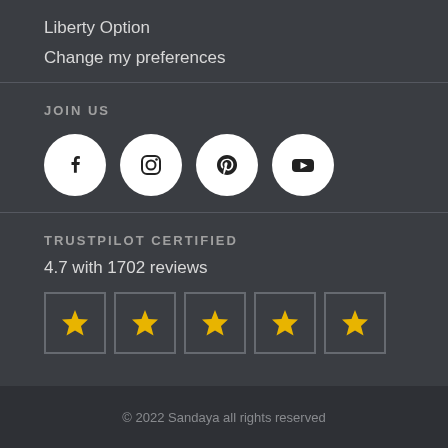Liberty Option
Change my preferences
JOIN US
[Figure (illustration): Four social media icons in white circles: Facebook, Instagram, Pinterest, YouTube]
TRUSTPILOT CERTIFIED
4.7 with 1702 reviews
[Figure (illustration): Five yellow star rating boxes with bordered squares]
© 2022 Sandaya all rights reserved